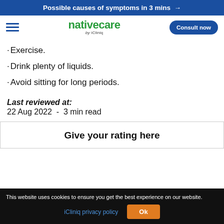Possible causes of symptoms in 3 mins →
[Figure (logo): nativecare by iCliniq logo with hamburger menu and Consult now button]
·Exercise.
·Drink plenty of liquids.
·Avoid sitting for long periods.
Last reviewed at:
22 Aug 2022 - 3 min read
Give your rating here
This website uses cookies to ensure you get the best experience on our website. iCliniq privacy policy Ok